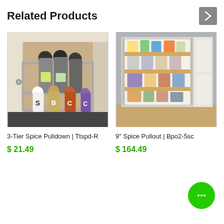Related Products
[Figure (photo): 3-Tier Spice Pulldown mounted inside a kitchen cabinet with bottles of spices in a chrome wire rack]
3-Tier Spice Pulldown | Ttspd-R
$ 21.49
[Figure (photo): 9 inch Spice Pullout cabinet organizer with multiple wooden shelves filled with cans and boxes of food]
9" Spice Pullout | Bpo2-5sc
$ 164.49